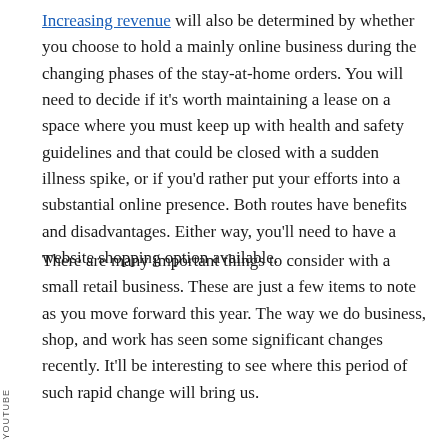Increasing revenue will also be determined by whether you choose to hold a mainly online business during the changing phases of the stay-at-home orders. You will need to decide if it's worth maintaining a lease on a space where you must keep up with health and safety guidelines and that could be closed with a sudden illness spike, or if you'd rather put your efforts into a substantial online presence. Both routes have benefits and disadvantages. Either way, you'll need to have a website shopping option available.
There are many important things to consider with a small retail business. These are just a few items to note as you move forward this year. The way we do business, shop, and work has seen some significant changes recently. It'll be interesting to see where this period of such rapid change will bring us.